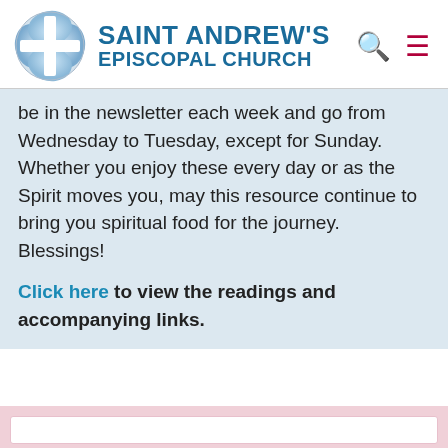SAINT ANDREW'S EPISCOPAL CHURCH
be in the newsletter each week and go from Wednesday to Tuesday, except for Sunday. Whether you enjoy these every day or as the Spirit moves you, may this resource continue to bring you spiritual food for the journey. Blessings!
Click here to view the readings and accompanying links.